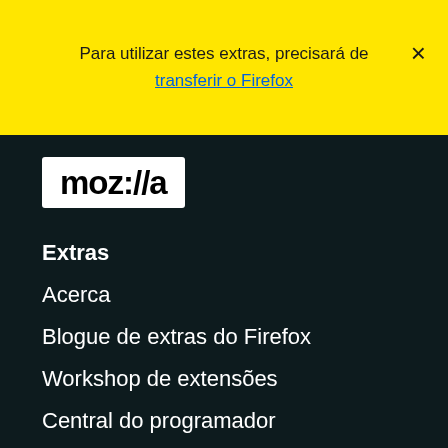Para utilizar estes extras, precisará de transferir o Firefox
[Figure (logo): Mozilla logo - white text 'moz://a' on white background box]
Extras
Acerca
Blogue de extras do Firefox
Workshop de extensões
Central do programador
Políticas de programador
Blogue da comunidade